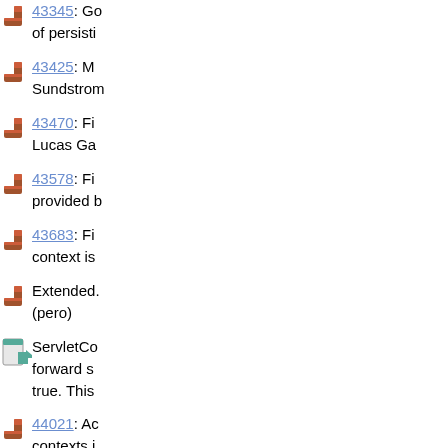43345: Go of persisti
43425: M Sundstrom
43470: Fi Lucas Ga
43578: Fi provided b
43683: Fi context is
Extended. (pero)
ServletCo forward s true. This
44021: Ac contexts i
44282: Fi security m
44337: Di
If listener
Fix NPE w